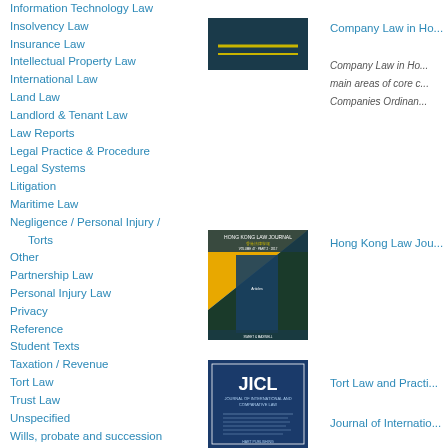Information Technology Law
Insolvency Law
Insurance Law
Intellectual Property Law
International Law
Land Law
Landlord & Tenant Law
Law Reports
Legal Practice & Procedure
Legal Systems
Litigation
Maritime Law
Negligence / Personal Injury / Torts
Other
Partnership Law
Personal Injury Law
Privacy
Reference
Student Texts
Taxation / Revenue
Tort Law
Trust Law
Unspecified
Wills, probate and succession
Wills, Trusts, Estates & Probate
[Figure (photo): Book cover: dark teal with gold horizontal lines - Company Law in Hong Kong]
Company Law in Hong Kong
Company Law in Hong Kong ... main areas of core ... Companies Ordinan...
[Figure (photo): Book cover: Hong Kong Law Journal - yellow and dark green geometric design]
Hong Kong Law Jou...
Tort Law and Practi...
[Figure (photo): Book cover: JICL - Journal of International and Comparative Law - blue cover]
Journal of Internatio...